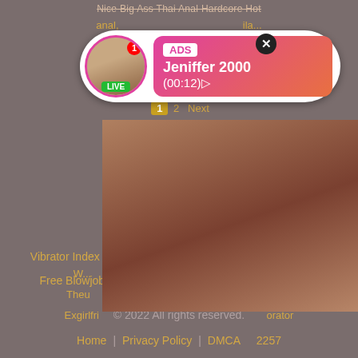Nice Big Ass Thai Anal Hardcore Hot
anal, ... ila...
[Figure (screenshot): Ad overlay with avatar photo of woman, ADS label, name Jeniffer 2000, time (00:12), LIVE badge, close button]
1  2  Next
[Figure (screenshot): Adult ad banner: photo of woman on left, right side shows WHAT DO YOU WANT? with WATCH button, Online indicator, three thumbnail images, text Cumming, ass fucking, squirt or... ADS]
W...
Theu... dex
Exgirlfri... orator
Vibrator Index  Pump  Pump Index  Free Blowjob Porn
Free Blowjob Porn Index  Best Anal  Best Anal Index
© 2022 All rights reserved.
Home  Privacy Policy  DMCA  2257